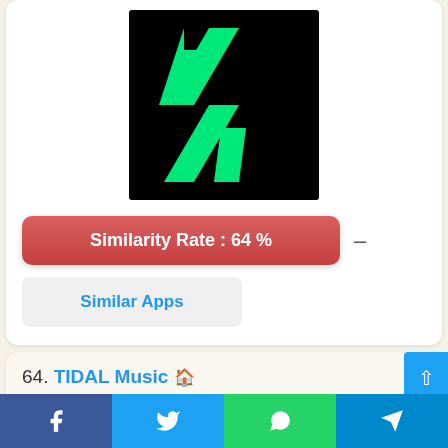[Figure (logo): DeviantArt logo — green lightning-bolt-style icon on black background]
Similarity Rate : 64 %
Similar Apps
64. TIDAL Music 🏠
You can now enjoy TIDAL for free or with our